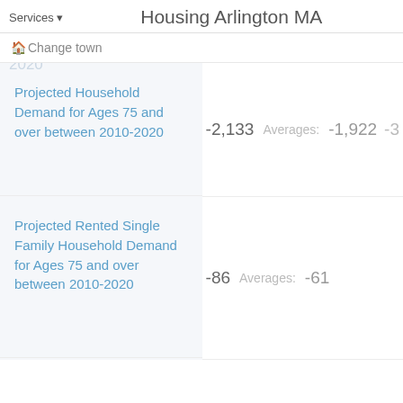Services ▾   Housing Arlington MA
🏠 Change town
between 2010-2020
2020
Projected Household Demand for Ages 75 and over between 2010-2020
-2,133   Averages:   -1,922   -3…
Projected Rented Single Family Household Demand for Ages 75 and over between 2010-2020
-86   Averages:   -61